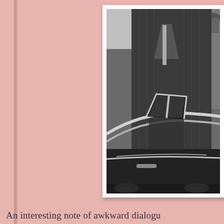[Figure (photo): Black and white vintage photograph showing a man in a pinstripe suit standing near a classic car, with another person partially visible in the background. The photo has a white border and is positioned in the upper right area of the pink background page.]
An interesting note of awkward dialogu